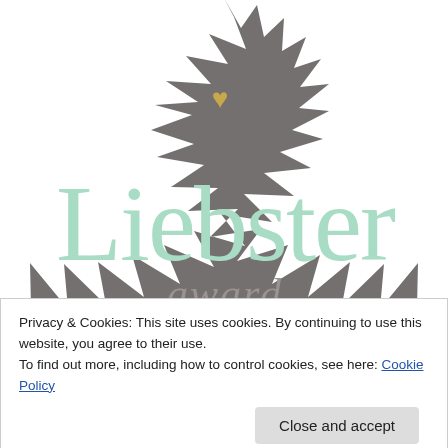[Figure (logo): Liebster Award badge — a grey starburst/sunburst shape with the word 'Liebster' in large mint/light-green hand-lettered font, a small gold heart above the 'i', and the word 'award' in smaller grey cursive script below. A partial URL is visible at the bottom of the badge.]
Privacy & Cookies: This site uses cookies. By continuing to use this website, you agree to their use.
To find out more, including how to control cookies, see here: Cookie Policy
Close and accept